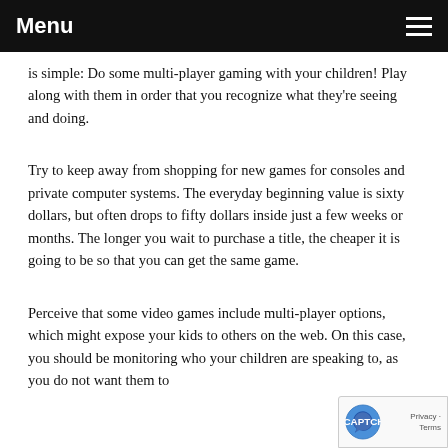Menu
is simple: Do some multi-player gaming with your children! Play along with them in order that you recognize what they're seeing and doing.
Try to keep away from shopping for new games for consoles and private computer systems. The everyday beginning value is sixty dollars, but often drops to fifty dollars inside just a few weeks or months. The longer you wait to purchase a title, the cheaper it is going to be so that you can get the same game.
Perceive that some video games include multi-player options, which might expose your kids to others on the web. On this case, you should be monitoring who your children are speaking to, as you do not want them to